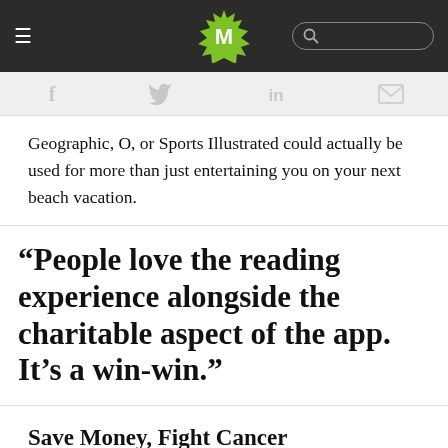M [logo] [search bar]
f  [twitter]  in  [mail]
Geographic, O, or Sports Illustrated could actually be used for more than just entertaining you on your next beach vacation.
“People love the reading experience alongside the charitable aspect of the app. It’s a win-win.”
Save Money, Fight Cancer
Read for the Cure, established in 2007, introduced a new